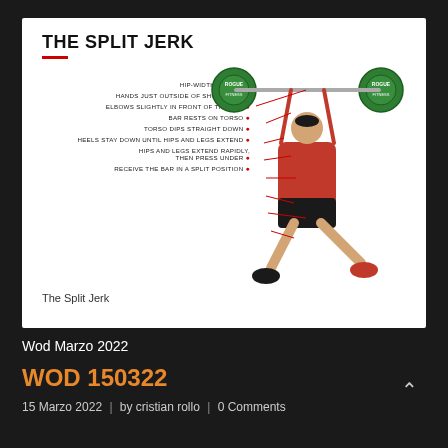[Figure (infographic): Infographic titled 'THE SPLIT JERK' showing a female weightlifter in a split jerk position holding a barbell overhead with Rogue weight plates. Red lines point from text labels to specific body positions. Labels list technique cues: HIP-WIDTH STANCE, HANDS JUST OUTSIDE OF SHOULDERS, ELBOWS SLIGHTLY IN FRONT OF THE BAR, BAR RESTS ON TORSO, TORSO DIPS STRAIGHT DOWN, HEELS STAY DOWN UNTIL HIPS AND LEGS EXTEND, HIPS AND LEGS EXTEND RAPIDLY THEN PRESS UNDER, RECEIVE THE BAR IN A SPLIT POSITION.]
The Split Jerk
Wod Marzo 2022
WOD 150322
15 Marzo 2022 | by cristian rollo | 0 Comments